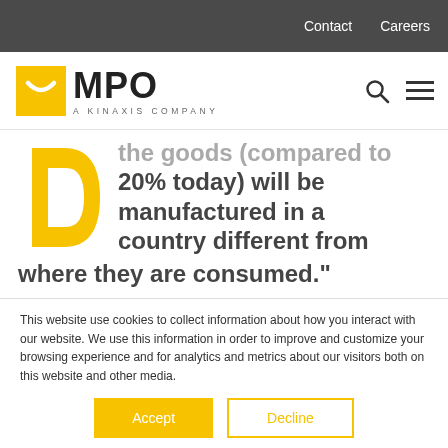Contact  Careers
[Figure (logo): MPO - A Kinaxis Company logo with yellow square icon and bold MPO text]
the goods (compared to 20% today) will be manufactured in a country different from where they are consumed."
This website use cookies to collect information about how you interact with our website. We use this information in order to improve and customize your browsing experience and for analytics and metrics about our visitors both on this website and other media.
Accept  Decline